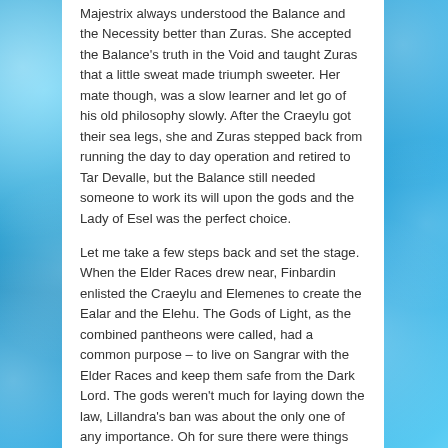Majestrix always understood the Balance and the Necessity better than Zuras. She accepted the Balance's truth in the Void and taught Zuras that a little sweat made triumph sweeter. Her mate though, was a slow learner and let go of his old philosophy slowly. After the Craeylu got their sea legs, she and Zuras stepped back from running the day to day operation and retired to Tar Devalle, but the Balance still needed someone to work its will upon the gods and the Lady of Esel was the perfect choice.
Let me take a few steps back and set the stage. When the Elder Races drew near, Finbardin enlisted the Craeylu and Elemenes to create the Ealar and the Elehu. The Gods of Light, as the combined pantheons were called, had a common purpose – to live on Sangrar with the Elder Races and keep them safe from the Dark Lord. The gods weren't much for laying down the law, Lillandra's ban was about the only one of any importance. Oh for sure there were things you shouldn't do, like any act of violence against another, but there wasn't any need to write them down. The rules were simply understood, accepted and